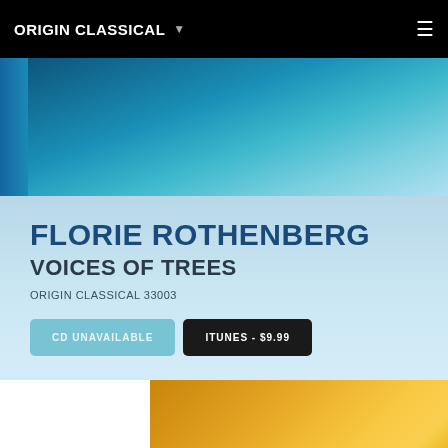ORIGIN CLASSICAL
[Figure (photo): Blue and teal abstract background hero image with a dark blue vertical bar on the left and gradient teal/light blue background]
FLORIE ROTHENBERG
VOICES OF TREES
ORIGIN CLASSICAL 33003
CD UNAVAILABLE
ITUNES - $9.99
[Figure (photo): Album cover with orange/golden gradient background, text FLORIE ROTHENBERG at bottom]